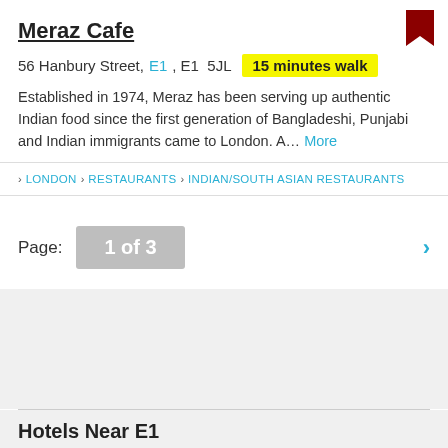Meraz Cafe
56 Hanbury Street, E1, E1 5JL  15 minutes walk
Established in 1974, Meraz has been serving up authentic Indian food since the first generation of Bangladeshi, Punjabi and Indian immigrants came to London. A... More
> LONDON > RESTAURANTS > INDIAN/SOUTH ASIAN RESTAURANTS
Page: 1 of 3
Hotels Near E1
Find London hotel deals